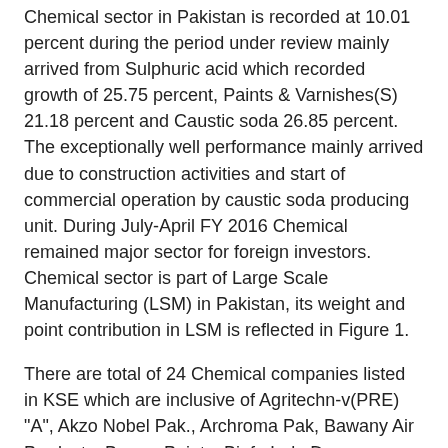Chemical sector in Pakistan is recorded at 10.01 percent during the period under review mainly arrived from Sulphuric acid which recorded growth of 25.75 percent, Paints & Varnishes(S) 21.18 percent and Caustic soda 26.85 percent. The exceptionally well performance mainly arrived due to construction activities and start of commercial operation by caustic soda producing unit. During July-April FY 2016 Chemical remained major sector for foreign investors. Chemical sector is part of Large Scale Manufacturing (LSM) in Pakistan, its weight and point contribution in LSM is reflected in Figure 1.
There are total of 24 Chemical companies listed in KSE which are inclusive of Agritechn-v(PRE) "A", Akzo Nobel Pak., Archroma Pak, Bawany Air Products, Berger Paints, Biafo Ind., Descon Oxychem, Engro Polymer, ICI Pakistan, Ittehad Chemical, etc.